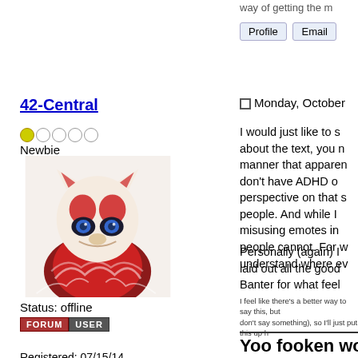way of getting the m...
Profile  Email
42-Central
●○○○○
Newbie
[Figure (illustration): Forum avatar: cartoon anthropomorphic creature with red and white coloring, skull-like face]
Status: offline
FORUM USER
Registered: 07/15/14
Posts: 5
Monday, October
I would just like to s... about the text, you n... manner that apparen... don't have ADHD o... perspective on that ... people. And while I... misusing emotes in... people cannot. For w... understand where ev...
Personally (again) I... laid out all the good... Banter for what feel...
I feel like there's a better way to say this, but... don't say something), so I'll just put this up h...
Yoo fooken wot m8